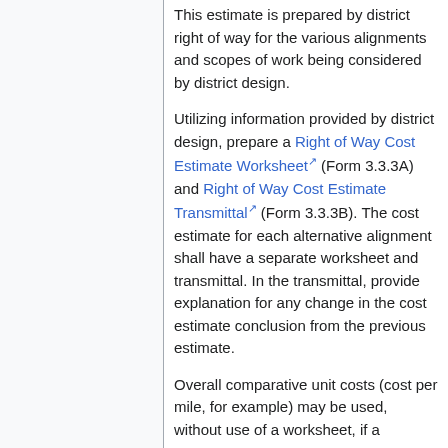This estimate is prepared by district right of way for the various alignments and scopes of work being considered by district design.
Utilizing information provided by district design, prepare a Right of Way Cost Estimate Worksheet (Form 3.3.3A) and Right of Way Cost Estimate Transmittal (Form 3.3.3B). The cost estimate for each alternative alignment shall have a separate worksheet and transmittal. In the transmittal, provide explanation for any change in the cost estimate conclusion from the previous estimate.
Overall comparative unit costs (cost per mile, for example) may be used, without use of a worksheet, if a